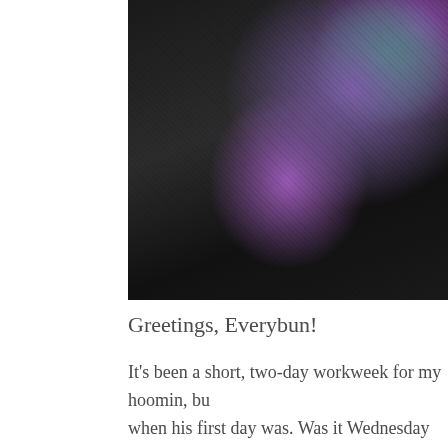[Figure (photo): Close-up photo of dark/black fur (likely a rabbit) with purple and green floral elements in the background]
Greetings, Everybun!
It's been a short, two-day workweek for my hoomin, bu when his first day was. Was it Wednesday when he had else? Or was it Thursday when he got to do some "wor
It doesn't matter, I guess. He hit the ground running, on direction - a minor detail if you ask me. As long as he r cared about. At the end of the day, he works for me no
We'll know more about that "direction" thingy on Wedn tell" for the hoomins he works with. In other words, thi time for the silt to settle.